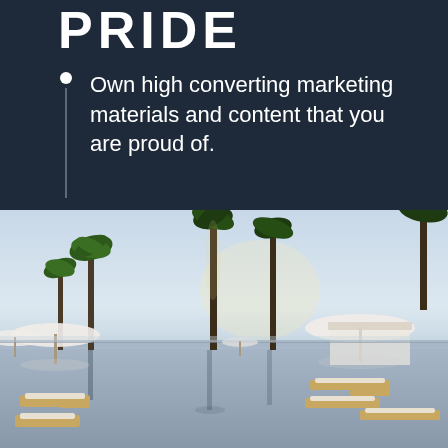PRIDE
Own high converting marketing materials and content that you are proud of.
[Figure (photo): Luxury resort infinity pool with white lounge chairs and umbrellas, palm trees reflecting in calm water, ocean in the background, soft daylight sky]